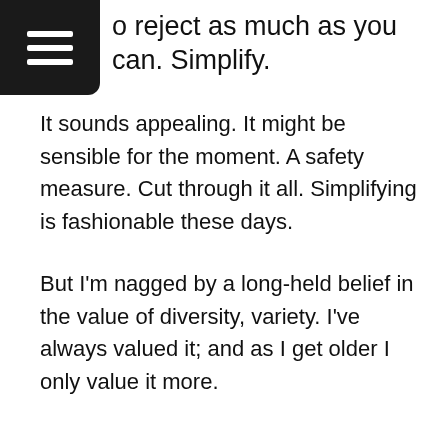[Figure (other): Hamburger menu icon: dark square with three white horizontal lines, top-left corner]
o reject as much as you can. Simplify.
It sounds appealing. It might be sensible for the moment. A safety measure. Cut through it all. Simplifying is fashionable these days.
But I'm nagged by a long-held belief in the value of diversity, variety. I've always valued it; and as I get older I only value it more.
x x x x x x
[Figure (other): Three social media buttons: orange RSS circle, grey Follow/email circle, red Pinterest circle]
What I Don't Expect (Garden
By continuing to use the site, you are deemed as agreeing to the use of cookies. More Information   Accept
Lights) #2)
Get different views. Assemble a committee of the